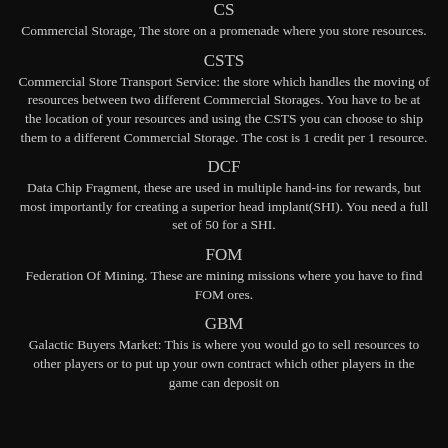CS
Commercial Storage, The store on a promenade where you store resources.
CSTS
Commercial Store Transport Service: the store which handles the moving of resources between two different Commercial Storages. You have to be at the location of your resources and using the CSTS you can choose to ship them to a different Commercial Storage. The cost is 1 credit per 1 resource.
DCF
Data Chip Fragment, these are used in multiple hand-ins for rewards, but most importantly for creating a superior head implant(SHI). You need a full set of 50 for a SHI.
FOM
Federation Of Mining. These are mining missions where you have to find FOM ores.
GBM
Galactic Buyers Market: This is where you would go to sell resources to other players or to put up your own contract which other players in the game can deposit on